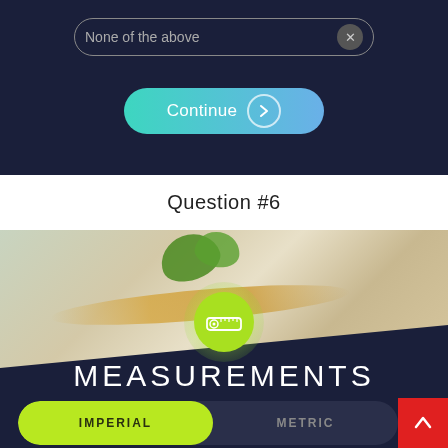[Figure (screenshot): Dark navy UI panel showing a 'None of the above' pill input with X button and a teal-blue gradient Continue button with chevron arrow]
Question #6
[Figure (screenshot): App screen showing a food photo background with a glowing lime-green circle icon containing a tape measure symbol, large MEASUREMENTS text overlay, and an IMPERIAL/METRIC toggle bar at the bottom with IMPERIAL selected in lime green, plus a red up-arrow button]
MEASUREMENTS
IMPERIAL
METRIC